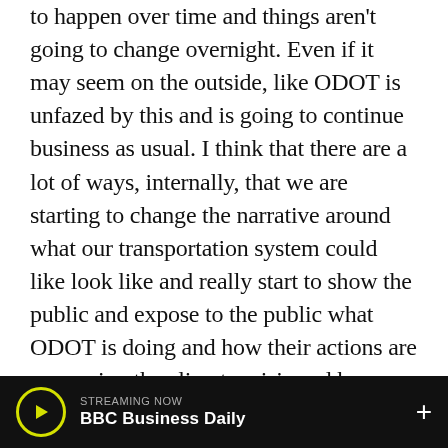to happen over time and things aren't going to change overnight. Even if it may seem on the outside, like ODOT is unfazed by this and is going to continue business as usual. I think that there are a lot of ways, internally, that we are starting to change the narrative around what our transportation system could like look like and really start to show the public and expose to the public what ODOT is doing and how their actions are worsening the climate crisis and how we could be investing in a transportation system that really does better serve our communities like Ukiah described. I think that in a lot of ways that vision really is what keeps me going along with knowing that I do have a personal stake in this as a former Tubman student and really just wanting to fight for
STREAMING NOW
BBC Business Daily